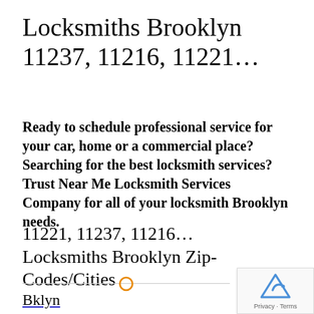Locksmiths Brooklyn 11237, 11216, 11221…
Ready to schedule professional service for your car, home or a commercial place? Searching for the best locksmith services? Trust Near Me Locksmith Services Company for all of your locksmith Brooklyn needs.
11221, 11237, 11216… Locksmiths Brooklyn Zip-Codes/Cities
Bklyn